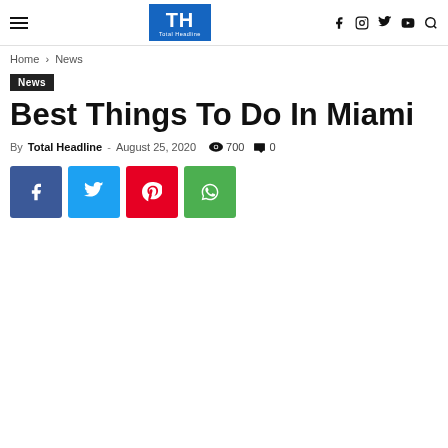TH Total Headline — navigation header with hamburger menu, logo, and social icons (f, instagram, twitter, youtube, search)
Home › News
News
Best Things To Do In Miami
By Total Headline - August 25, 2020  700  0
[Figure (other): Four social share buttons: Facebook (blue), Twitter (cyan), Pinterest (red), WhatsApp (green)]